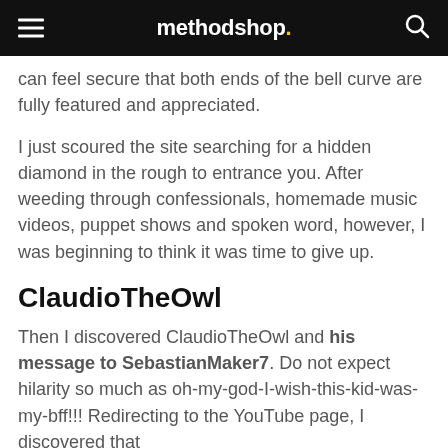methodshop.
can feel secure that both ends of the bell curve are fully featured and appreciated.
I just scoured the site searching for a hidden diamond in the rough to entrance you. After weeding through confessionals, homemade music videos, puppet shows and spoken word, however, I was beginning to think it was time to give up.
ClaudioTheOwl
Then I discovered ClaudioTheOwl and his message to SebastianMaker7. Do not expect hilarity so much as oh-my-god-I-wish-this-kid-was-my-bff!!! Redirecting to the YouTube page, I discovered that